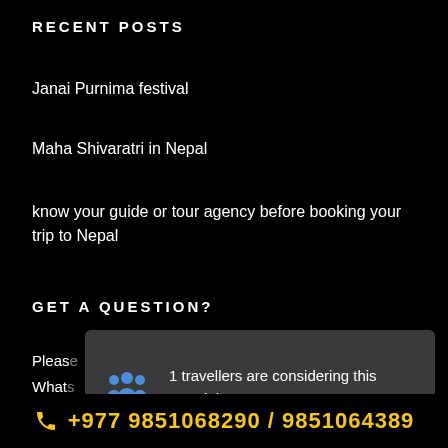RECENT POSTS
Janai Purnima festival
Maha Shivaratri in Nepal
know your guide or tour agency before booking your trip to Nepal
GET A QUESTION?
[Figure (infographic): A dark grey tooltip popup with a blue group icon showing '1 travellers are considering this tour right now!']
Please
What
📞 +977 9851068290 / 9851064389